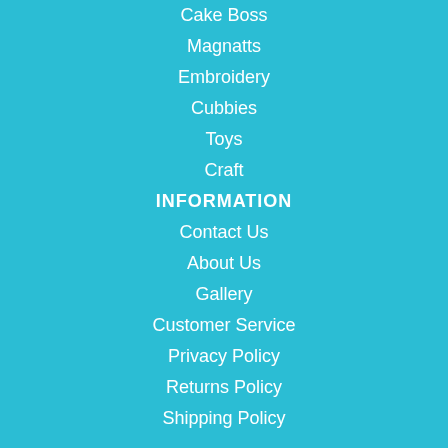Cake Boss
Magnatts
Embroidery
Cubbies
Toys
Craft
INFORMATION
Contact Us
About Us
Gallery
Customer Service
Privacy Policy
Returns Policy
Shipping Policy